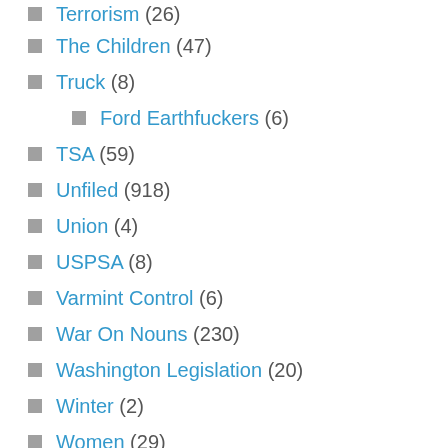Terrorism (26)
The Children (47)
Truck (8)
Ford Earthfuckers (6)
TSA (59)
Unfiled (918)
Union (4)
USPSA (8)
Varmint Control (6)
War On Nouns (230)
Washington Legislation (20)
Winter (2)
Women (29)